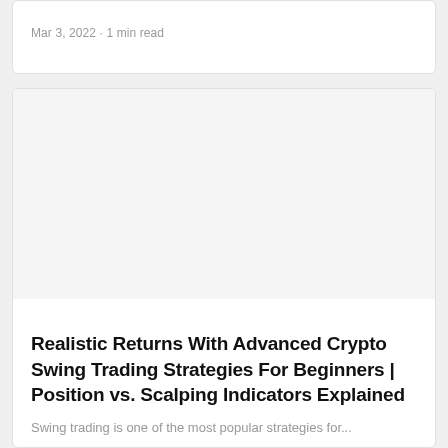Mar 3, 2022 · 1 min read
[Figure (photo): Blank/empty image placeholder for article thumbnail]
Realistic Returns With Advanced Crypto Swing Trading Strategies For Beginners | Position vs. Scalping Indicators Explained
Swing trading is one of the most popular strategies for...